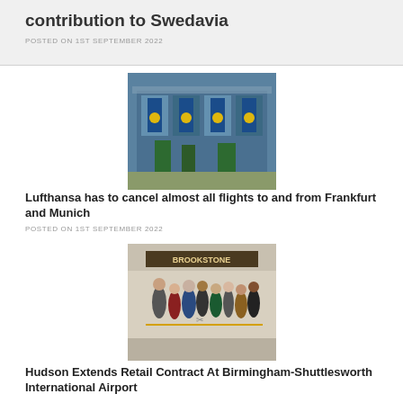contribution to Swedavia
POSTED ON 1ST SEPTEMBER 2022
[Figure (photo): Lufthansa terminal building exterior with blue banners and glass facade]
Lufthansa has to cancel almost all flights to and from Frankfurt and Munich
POSTED ON 1ST SEPTEMBER 2022
[Figure (photo): Group of people at a ribbon cutting ceremony inside an airport retail store]
Hudson Extends Retail Contract At Birmingham-Shuttlesworth International Airport